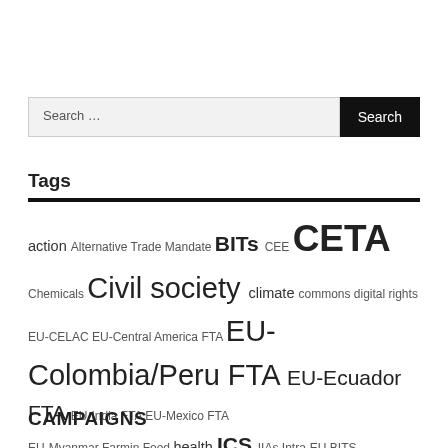Search …
Tags
action Alternative Trade Mandate BITs CEE CETA Chemicals Civil society climate commons digital rights EU-CELAC EU-Central America FTA EU-Colombia/Peru FTA EU-Ecuador FTA EU-India FTA EU-Mexico FTA EU-Myanmar Farmin Food health ICS IIAs Intra-EU BITS ISDS Japan JEFTA labor local medicine Mercosur MIC Myanmar open letter philippines public services reform Regulatory cooperation resolution SDG Singapore TISA TTIP TTIP resolution vote WTO
CAMPAIGNS